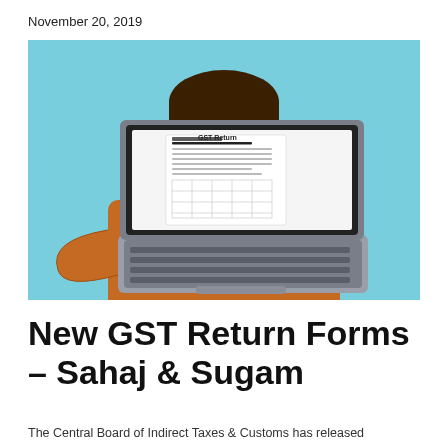November 20, 2019
[Figure (photo): Man in orange shirt smiling and pointing at a laptop screen displaying a GST Return form, against a light blue background.]
New GST Return Forms – Sahaj & Sugam
The Central Board of Indirect Taxes & Customs has released